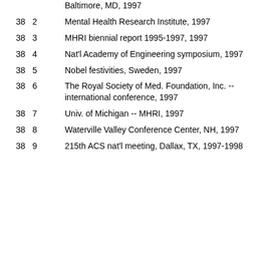| Box | Folder | Description |
| --- | --- | --- |
|  |  | Baltimore, MD, 1997 |
| 38 | 2 | Mental Health Research Institute, 1997 |
| 38 | 3 | MHRI biennial report 1995-1997, 1997 |
| 38 | 4 | Nat'l Academy of Engineering symposium, 1997 |
| 38 | 5 | Nobel festivities, Sweden, 1997 |
| 38 | 6 | The Royal Society of Med. Foundation, Inc. -- international conference, 1997 |
| 38 | 7 | Univ. of Michigan -- MHRI, 1997 |
| 38 | 8 | Waterville Valley Conference Center, NH, 1997 |
| 38 | 9 | 215th ACS nat'l meeting, Dallax, TX, 1997-1998 |